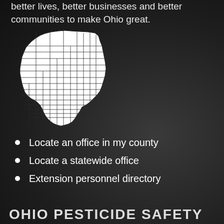better lives, better businesses and better communities to make Ohio great.
[Figure (map): Outline map of Ohio showing county boundaries, white counties on dark background]
Locate an office in my county
Locate a statewide office
Extension personnel directory
OHIO PESTICIDE SAFETY